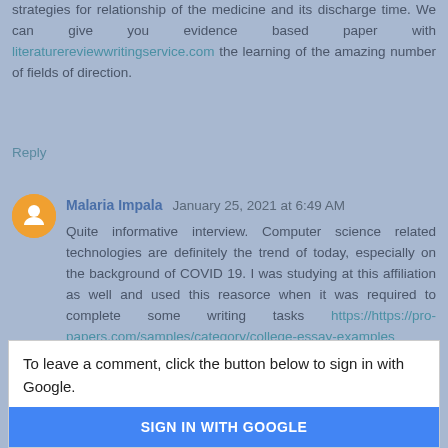strategies for relationship of the medicine and its discharge time. We can give you evidence based paper with literaturereviewwritingservice.com the learning of the amazing number of fields of direction.
Reply
Malaria Impala  January 25, 2021 at 6:49 AM
Quite informative interview. Computer science related technologies are definitely the trend of today, especially on the background of COVID 19. I was studying at this affiliation as well and used this reasorce when it was required to complete some writing tasks https://https://pro-papers.com/samples/category/college-essay-examples
hope it will be useful for you
Reply
To leave a comment, click the button below to sign in with Google.
SIGN IN WITH GOOGLE